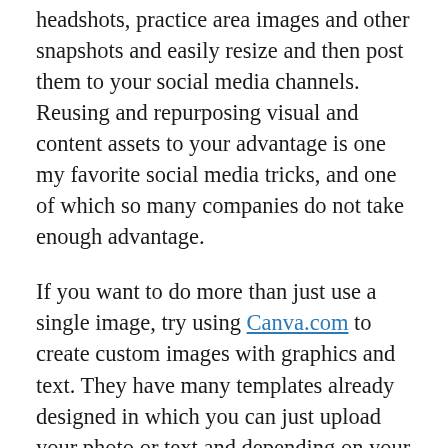headshots, practice area images and other snapshots and easily resize and then post them to your social media channels. Reusing and repurposing visual and content assets to your advantage is one my favorite social media tricks, and one of which so many companies do not take enough advantage.
If you want to do more than just use a single image, try using Canva.com to create custom images with graphics and text. They have many templates already designed in which you can just upload your photo or text and depending on your membership, you can gain access to their robust stock image library as well, which is very useful when trying to add visual interest to a post. For example, I made the image above using one of Canva's templates, which I edited